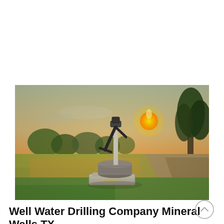[Figure (photo): A vintage hand-pump water well on a concrete base, set in a rural landscape with green fields, trees, and a vivid orange sunset in the background.]
Well Water Drilling Company Mineral Wells TX